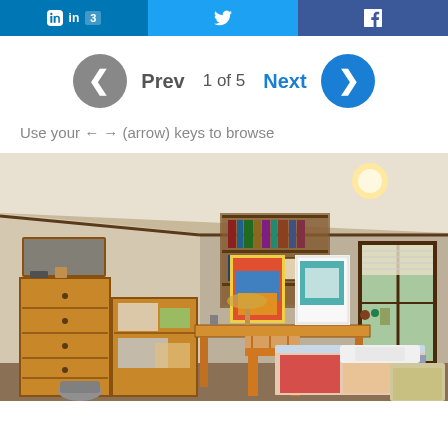[Figure (other): Social sharing buttons: LinkedIn (3), Twitter, Facebook]
[Figure (infographic): Navigation controls showing Prev / 1 of 5 / Next with circular arrow buttons]
Use your ← → (arrow) keys to browse
[Figure (photo): Photo of a college dorm room with wooden furniture, desk, bookshelf, dresser, bed with colorful bedding, posters on wall, and window with blinds]